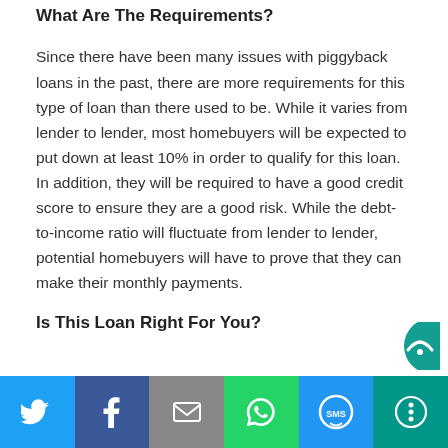What Are The Requirements?
Since there have been many issues with piggyback loans in the past, there are more requirements for this type of loan than there used to be. While it varies from lender to lender, most homebuyers will be expected to put down at least 10% in order to qualify for this loan. In addition, they will be required to have a good credit score to ensure they are a good risk. While the debt-to-income ratio will fluctuate from lender to lender, potential homebuyers will have to prove that they can make their monthly payments.
Is This Loan Right For You?
[Figure (other): Social sharing bar with buttons for Twitter, Facebook, Email, WhatsApp, SMS, and More]